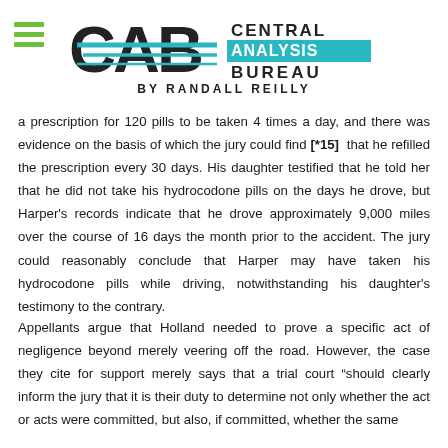[Figure (logo): Central Analysis Bureau logo with CAB lettering, teal analysis box, and 'BY RANDALL REILLY' tagline]
a prescription for 120 pills to be taken 4 times a day, and there was evidence on the basis of which the jury could find [*15] that he refilled the prescription every 30 days. His daughter testified that he told her that he did not take his hydrocodone pills on the days he drove, but Harper's records indicate that he drove approximately 9,000 miles over the course of 16 days the month prior to the accident. The jury could reasonably conclude that Harper may have taken his hydrocodone pills while driving, notwithstanding his daughter's testimony to the contrary.
Appellants argue that Holland needed to prove a specific act of negligence beyond merely veering off the road. However, the case they cite for support merely says that a trial court "should clearly inform the jury that it is their duty to determine not only whether the act or acts were committed, but also, if committed, whether the same